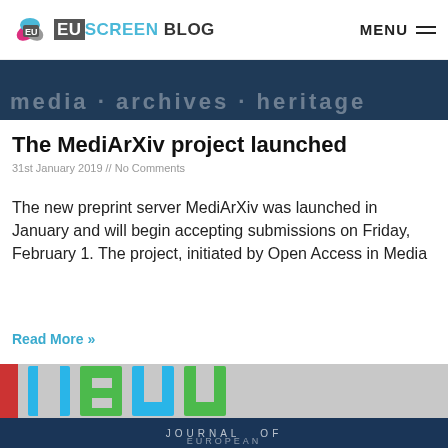EU SCREEN BLOG | MENU
[Figure (photo): Cropped bottom of a previous article header image, dark blue background with faint text]
The MediArXiv project launched
31st January 2019 // No Comments
The new preprint server MediArXiv was launched in January and will begin accepting submissions on Friday, February 1. The project, initiated by Open Access in Media
Read More »
[Figure (photo): Colorful EU letters logo (red, cyan, green) with white background, and below a dark blue bar with 'JOURNAL OF EUROPEAN' text]